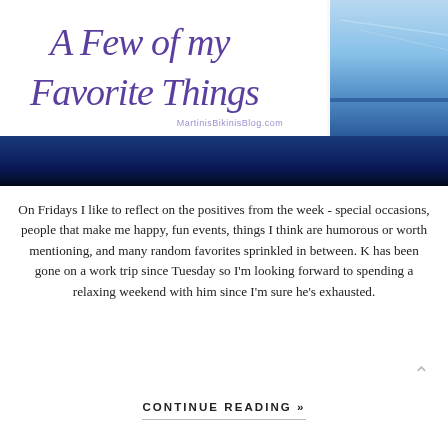[Figure (photo): Composite header image: white area on left with cursive purple text 'A Few of my Favorite Things' and watermark 'MartinisBikinisBlog.com', right side shows a calm blue water/sky landscape photo. Below is a dark navy/blue gradient water band.]
On Fridays I like to reflect on the positives from the week - special occasions, people that make me happy, fun events, things I think are humorous or worth mentioning, and many random favorites sprinkled in between. K has been gone on a work trip since Tuesday so I'm looking forward to spending a relaxing weekend with him since I'm sure he's exhausted.
CONTINUE READING »